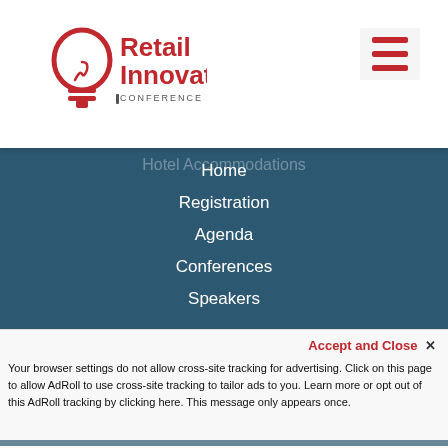[Figure (logo): Retail Innovation Conference & Expo logo with lightbulb icon in red and dark text]
Home
Registration
Agenda
Conferences
Speakers
EXPO
Expo Overview
Exhibitor List
Floor Plan
Activations
Exhibit / Inquire
RESOURCES
Hotel Accommodations
Accept and Close ×
Your browser settings do not allow cross-site tracking for advertising. Click on this page to allow AdRoll to use cross-site tracking to tailor ads to you. Learn more or opt out of this AdRoll tracking by clicking here. This message only appears once.